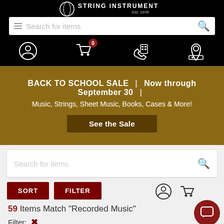[Figure (screenshot): String Instrument store website header with logo, search bar, navigation icons (account, cart with 0, phone/calculator, location)]
[Figure (banner): Gold/olive colored banner: BACK TO SCHOOL SALE | Now through September 30 | Music, Strings, Sheet Music, Books, Cases & More! — See the Sale button]
[Figure (screenshot): Search bar, SORT and FILTER buttons, account and cart icons, 59 Items Match Recorded Music results, Filter with X, product thumbnails, TrustedSite badge]
59 Items Match "Recorded Music"
Filter: ✕